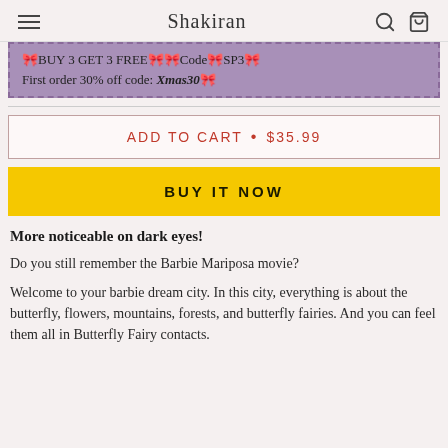Shakiran
🎀BUY 3 GET 3 FREE🎀🎀Code🎀SP3🎀
First order 30% off code: Xmas30🎀
ADD TO CART • $35.99
BUY IT NOW
More noticeable on dark eyes!
Do you still remember the Barbie Mariposa movie?
Welcome to your barbie dream city. In this city, everything is about the butterfly, flowers, mountains, forests, and butterfly fairies. And you can feel them all in Butterfly Fairy contacts.